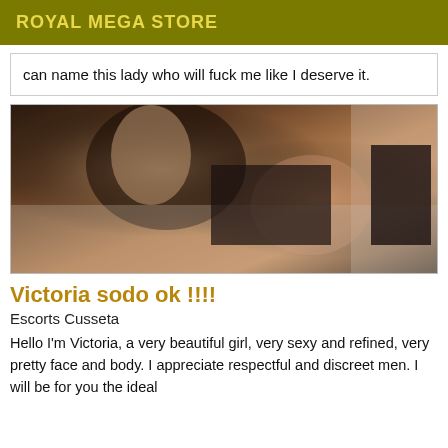ROYAL MEGA STORE
can name this lady who will fuck me like I deserve it.
[Figure (photo): Woman in lingerie posing on a bed]
Victoria sodo ok !!!!
Escorts Cusseta
Hello I'm Victoria, a very beautiful girl, very sexy and refined, very pretty face and body. I appreciate respectful and discreet men. I will be for you the ideal